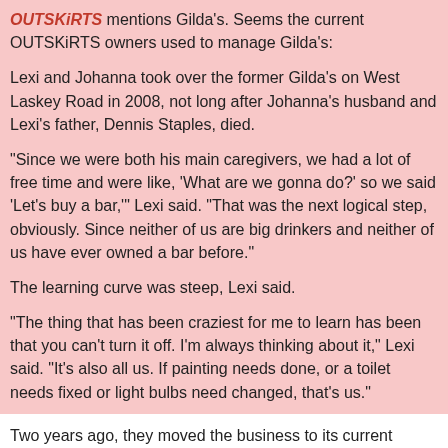OUTSKiRTS mentions Gilda's. Seems the current OUTSKiRTS owners used to manage Gilda's:
Lexi and Johanna took over the former Gilda's on West Laskey Road in 2008, not long after Johanna's husband and Lexi's father, Dennis Staples, died.
“Since we were both his main caregivers, we had a lot of free time and were like, ‘What are we gonna do?’ so we said ‘Let’s buy a bar,’” Lexi said. “That was the next logical step, obviously. Since neither of us are big drinkers and neither of us have ever owned a bar before.”
The learning curve was steep, Lexi said.
“The thing that has been craziest for me to learn has been that you can’t turn it off. I’m always thinking about it,” Lexi said. “It’s also all us. If painting needs done, or a toilet needs fixed or light bulbs need changed, that’s us.”
Two years ago, they moved the business to its current location at 5038 Lewis Ave.